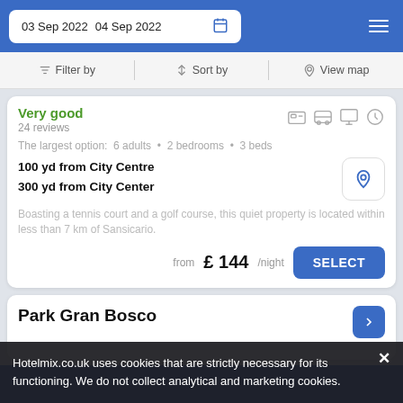03 Sep 2022  04 Sep 2022
Filter by  Sort by  View map
Very good
24 reviews
The largest option:  6 adults • 2 bedrooms • 3 beds
100 yd from City Centre
300 yd from City Center
Boasting a tennis court and a golf course, this quiet property is located within less than 7 km of Sansicario.
from £ 144/night  SELECT
Park Gran Bosco
Hotelmix.co.uk uses cookies that are strictly necessary for its functioning. We do not collect analytical and marketing cookies.